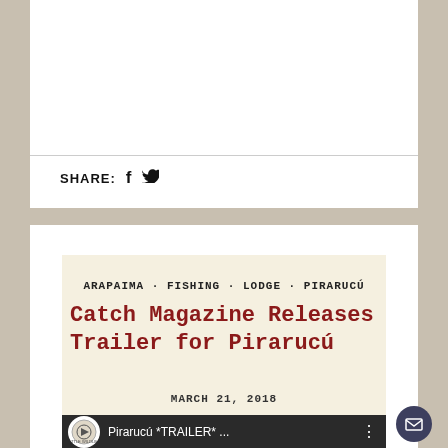SHARE: f 🐦
[Figure (screenshot): Article preview card with cream background showing tags: ARAPAIMA · FISHING · LODGE · PIRARUCÚ, title: Catch Magazine Releases Trailer for Pirarucú in red serif typewriter font, date: MARCH 21, 2018]
[Figure (screenshot): Video thumbnail bar showing Pirarucú *TRAILER* ... with circular logo and menu dots on dark background]